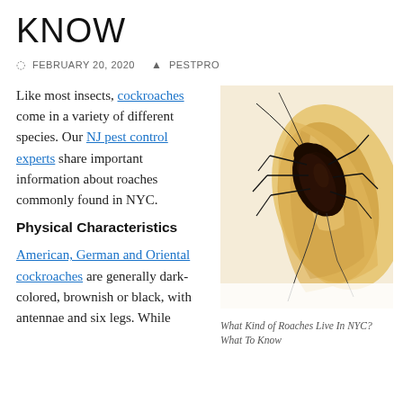KNOW
FEBRUARY 20, 2020   PESTPRO
Like most insects, cockroaches come in a variety of different species. Our NJ pest control experts share important information about roaches commonly found in NYC.
Physical Characteristics
American, German and Oriental cockroaches are generally dark-colored, brownish or black, with antennae and six legs. While
[Figure (photo): Close-up photo of a dark cockroach on a banana peel against a white background]
What Kind of Roaches Live In NYC? What To Know